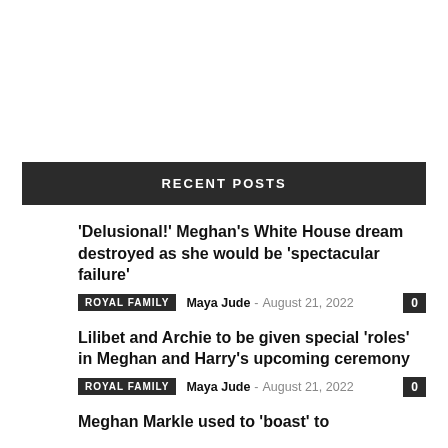RECENT POSTS
'Delusional!' Meghan's White House dream destroyed as she would be 'spectacular failure'
ROYAL FAMILY  Maya Jude  -  August 21, 2022  0
Lilibet and Archie to be given special 'roles' in Meghan and Harry's upcoming ceremony
ROYAL FAMILY  Maya Jude  -  August 21, 2022  0
Meghan Markle used to 'boast' to